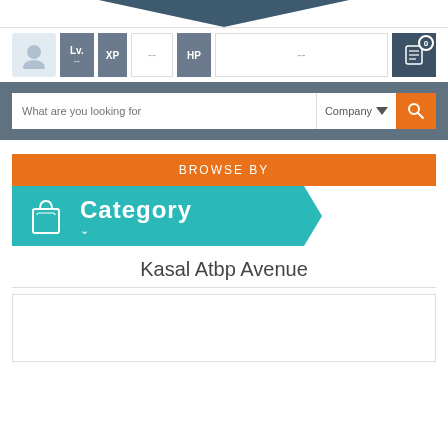[Figure (screenshot): Top arrow/chevron navigation banner pointing downward in dark teal]
[Figure (screenshot): User stats bar with avatar, Level (Lv. --), XP (--), HP (--), and notes button with badge 0]
[Figure (screenshot): Search bar with placeholder 'What are you looking for', Company dropdown, and orange search button]
BROWSE BY
Category
Kasal Atbp Avenue
[Figure (screenshot): Empty white content box with border]